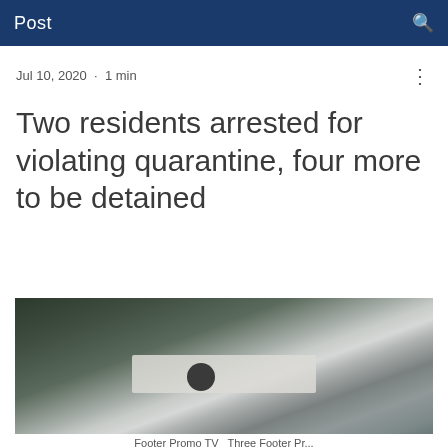Post
Jul 10, 2020 · 1 min
Two residents arrested for violating quarantine, four more to be detained
[Figure (photo): Blurred photograph showing a darkened indoor or outdoor scene with a light-colored sign or banner visible in the center foreground.]
Footer Promo TV ... Three Footer Pr...